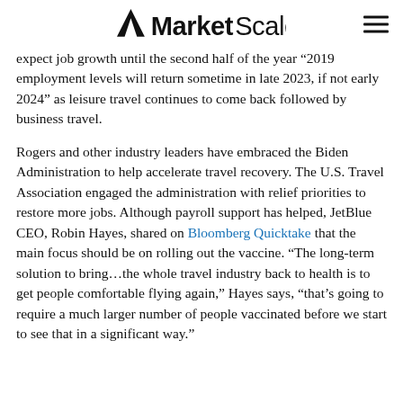MarketScale
expect job growth until the second half of the year ‘2019 employment levels will return sometime in late 2023, if not early 2024’ as leisure travel continues to come back followed by business travel.
Rogers and other industry leaders have embraced the Biden Administration to help accelerate travel recovery. The U.S. Travel Association engaged the administration with relief priorities to restore more jobs. Although payroll support has helped, JetBlue CEO, Robin Hayes, shared on Bloomberg Quicktake that the main focus should be on rolling out the vaccine. “The long-term solution to bring…the whole travel industry back to health is to get people comfortable flying again,” Hayes says, “that’s going to require a much larger number of people vaccinated before we start to see that in a significant way.”